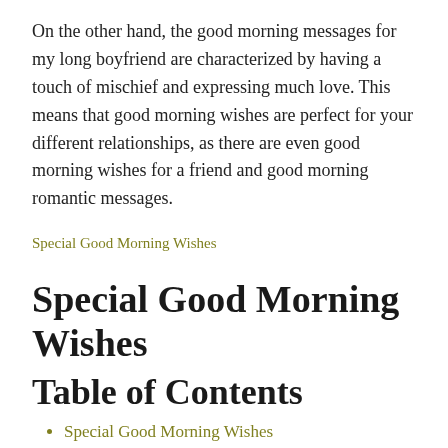On the other hand, the good morning messages for my long boyfriend are characterized by having a touch of mischief and expressing much love. This means that good morning wishes are perfect for your different relationships, as there are even good morning wishes for a friend and good morning romantic messages.
Special Good Morning Wishes
Special Good Morning Wishes
Table of Contents
Special Good Morning Wishes
Good Morning Gorgeous Text
Romantic Good Morning Wishes